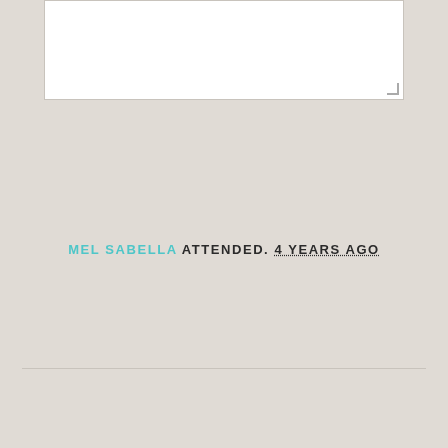[Figure (other): White textarea input box with resize handle in bottom-right corner]
MEL SABELLA ATTENDED. 4 YEARS AGO
BESAN BANNASCH ATTENDED. 4 YEARS AGO
CYNTHIA TAO ATTENDED. 4 YEARS AGO
REBECCA DUNCAN